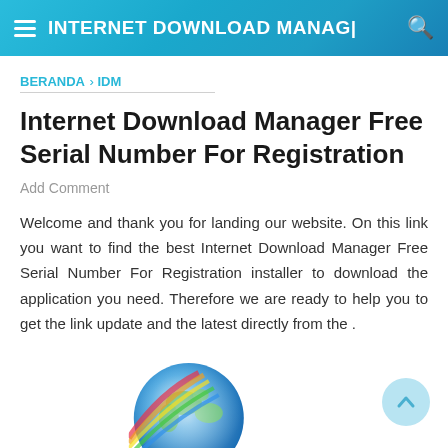INTERNET DOWNLOAD MANAGER
BERANDA › IDM
Internet Download Manager Free Serial Number For Registration
Add Comment
Welcome and thank you for landing our website. On this link you want to find the best Internet Download Manager Free Serial Number For Registration installer to download the application you need. Therefore we are ready to help you to get the link update and the latest directly from the .
[Figure (illustration): Globe/earth illustration at bottom center of page, partially cropped]